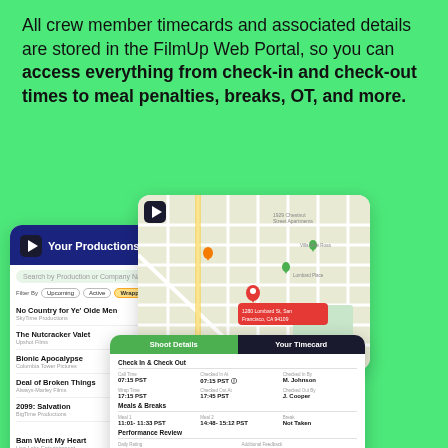All crew member timecards and associated details are stored in the FilmUp Web Portal, so you can access everything from check-in and check-out times to meal penalties, breaks, OT, and more.
[Figure (screenshot): Screenshot of FilmUp Web Portal showing: a 'Your Productions' panel listing productions (No Country for Ye' Olde Men, The Nutcracker Valet, Bionic Apocalypse, Deal of Broken Things, 2099: Salvation, Bam Went My Heart, Cage the Shadow, Easy Tables) with 'Wrapped' status badges; a map panel showing a Google Maps view of San Francisco; and a timecard panel showing 'Shoot Details' and 'Your Timecard' tabs with check-in/check-out times, meals & breaks, and performance review sections.]